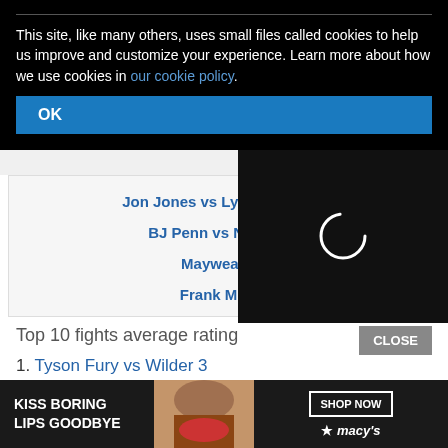This site, like many others, uses small files called cookies to help us improve and customize your experience. Learn more about how we use cookies in our cookie policy.
OK
Jon Jones vs Lyoto Machida
BJ Penn vs Nick Diaz
Mayweather...
Frank Mir vs...
[Figure (other): Video player loading spinner overlay with close button]
Top 10 fights average rating
1. Tyson Fury vs Wilder 3
2. Al...
3. M...
[Figure (other): Macy's advertisement: KISS BORING LIPS GOODBYE with SHOP NOW button and Macy's logo]